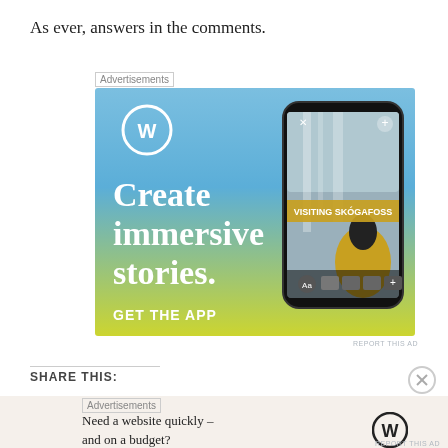As ever, answers in the comments.
Advertisements
[Figure (illustration): WordPress advertisement banner with blue-to-yellow gradient background. Shows WordPress logo, text 'Create immersive stories.' and 'GET THE APP', with a smartphone mockup showing a waterfall story titled 'VISITING SKÓGAFOSS']
REPORT THIS AD
SHARE THIS:
Advertisements
Need a website quickly – and on a budget?
REPORT THIS AD